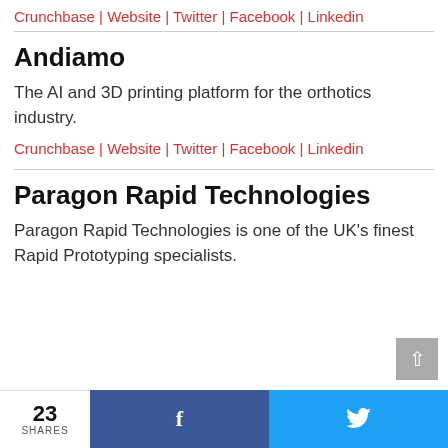Crunchbase | Website | Twitter | Facebook | Linkedin
Andiamo
The AI and 3D printing platform for the orthotics industry.
Crunchbase | Website | Twitter | Facebook | Linkedin
Paragon Rapid Technologies
Paragon Rapid Technologies is one of the UK's finest Rapid Prototyping specialists.
23 SHARES | f | bird-icon